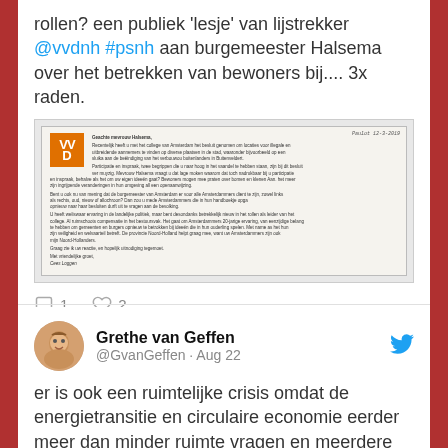rollen? een publiek 'lesje' van lijstrekker @vvdnh #psnh aan burgemeester Halsema over het betrekken van bewoners bij.... 3x raden.
[Figure (photo): Photo of a VVD letter addressed to Geachte mevrouw Halsema, signed by Cees Loggen, with VVD orange logo in top left and handwritten date/note in top right corner]
1  2
Grethe van Geffen @GvanGeffen · Aug 22
er is ook een ruimtelijke crisis omdat de energietransitie en circulaire economie eerder meer dan minder ruimte vragen en meerdere gemeenten woningen willen bouwen in het NZKG. @ProvincieNH mag zich echt zuinig tonen met de 4e haven van